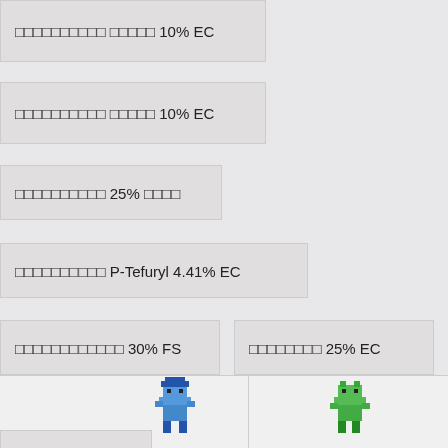□□□□□□□□□□ □□□□□ 10% EC
□□□□□□□□□□ □□□□□ 10% EC
□□□□□□□□□□ 25% □□□□
□□□□□□□□□□ P-Tefuryl 4.41% EC
□□□□□□□□□□□□ 30% FS
□□□□□□□□ 25% EC
□□□□□□□□□□ 20% EC
□□□□□□□□□□ 3% □□□
Zineb 75% WP
[Figure (illustration): Two pixel-art game characters at the bottom of the page — a blue character on the left and a green character on the right]